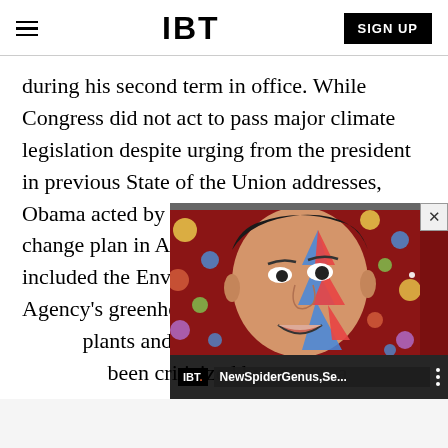IBT
during his second term in office. While Congress did not act to pass major climate legislation despite urging from the president in previous State of the Union addresses, Obama acted by putting out a major climate change plan in August 2013. His strategy included the Environmental Protection Agency's greenhouse gas re[gulations for power] plants and a number of othe[r measures that have] been criticized by conserva[tives.]
[Figure (screenshot): IBT video overlay showing a music artist with face paint (Ziggy Stardust style), with IBT logo badge and title 'NewSpiderGenus,Se...' with a close button and three-dot menu]